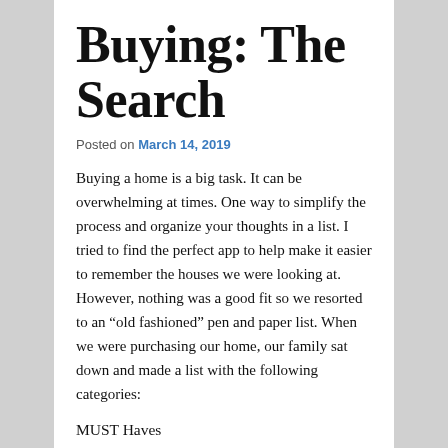Buying: The Search
Posted on March 14, 2019
Buying a home is a big task. It can be overwhelming at times. One way to simplify the process and organize your thoughts in a list. I tried to find the perfect app to help make it easier to remember the houses we were looking at. However, nothing was a good fit so we resorted to an “old fashioned” pen and paper list. When we were purchasing our home, our family sat down and made a list with the following categories:
MUST Haves
DEAL Breakers